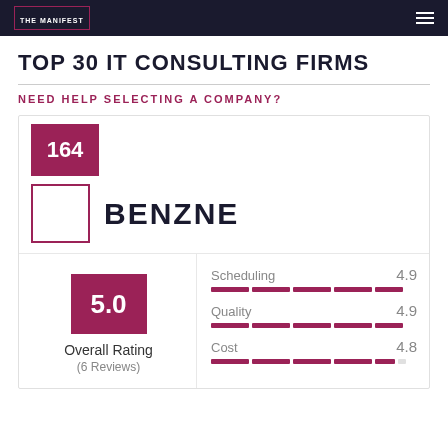THE MANIFEST
TOP 30 IT CONSULTING FIRMS
NEED HELP SELECTING A COMPANY?
164
BENZNE
5.0
Overall Rating
(6 Reviews)
| Metric | Score |
| --- | --- |
| Scheduling | 4.9 |
| Quality | 4.9 |
| Cost | 4.8 |